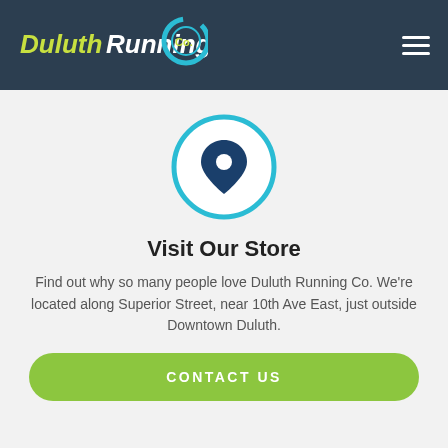[Figure (logo): Duluth Running Co. logo with circular swirl graphic, text in yellow-green italic on dark navy background header]
[Figure (illustration): Location pin icon inside a light blue circle outline]
Visit Our Store
Find out why so many people love Duluth Running Co. We're located along Superior Street, near 10th Ave East, just outside Downtown Duluth.
CONTACT US
[Figure (illustration): Partial bottom arc of a second circular icon, beginning to appear at bottom of page]